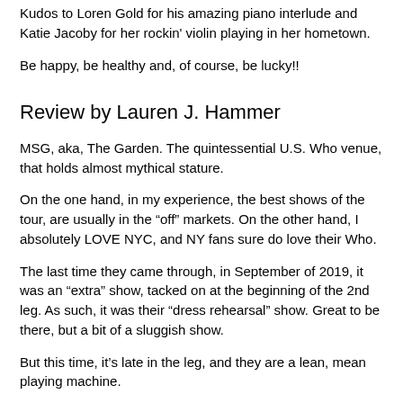Kudos to Loren Gold for his amazing piano interlude and Katie Jacoby for her rockin' violin playing in her hometown.
Be happy, be healthy and, of course, be lucky!!
Review by Lauren J. Hammer
MSG, aka, The Garden. The quintessential U.S. Who venue, that holds almost mythical stature.
On the one hand, in my experience, the best shows of the tour, are usually in the “off” markets. On the other hand, I absolutely LOVE NYC, and NY fans sure do love their Who.
The last time they came through, in September of 2019, it was an “extra” show, tacked on at the beginning of the 2nd leg. As such, it was their “dress rehearsal” show. Great to be there, but a bit of a sluggish show.
But this time, it’s late in the leg, and they are a lean, mean playing machine.
While I’m profoundly disappointed by how the set list has been cut down, and most importantly, the absence of the sublime,